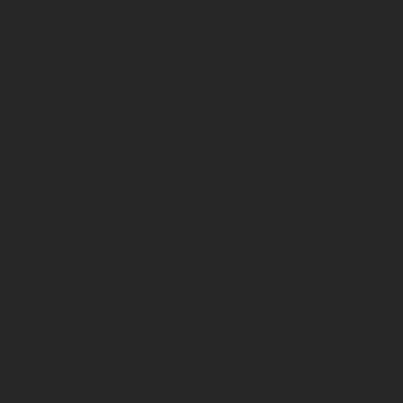[Figure (photo): Dark gray/black panel on left side of page, approximately 755px wide]
Your blog is my sou
Jess
Decem
I appreciate, cause God Bless you man
Trila
Decem
Trilastin-sr is a ne communicate to re discoloration.
artic
Decem